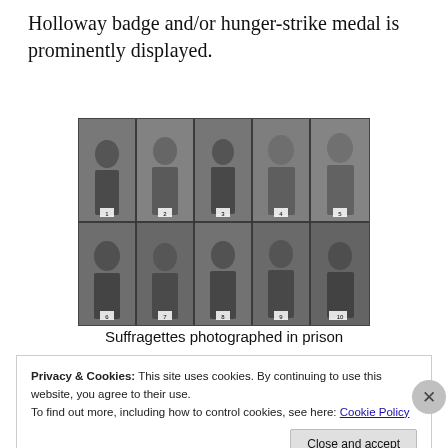Holloway badge and/or hunger-strike medal is prominently displayed.
[Figure (photo): A grid of 10 black-and-white portrait photographs of suffragettes photographed in prison, arranged in 2 rows of 5, each woman numbered 1–10 with a small badge/number tag visible.]
Suffragettes photographed in prison
Privacy & Cookies: This site uses cookies. By continuing to use this website, you agree to their use.
To find out more, including how to control cookies, see here: Cookie Policy
Close and accept